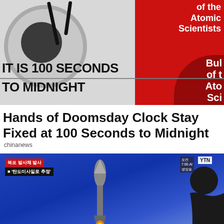[Figure (photo): Doomsday Clock showing '100 SECONDS' text with clock face on left gray section and red Bulletin of the Atomic Scientists background on right. Text overlay reads 'IT IS 100 SECONDS' and 'TO MIDNIGHT'.]
Hands of Doomsday Clock Stay Fixed at 100 Seconds to Midnight
chinanews
[Figure (photo): Television screen showing a missile launch against a blue sky background, with Korean news text banners. A person's silhouette is visible on the right side watching the TV.]